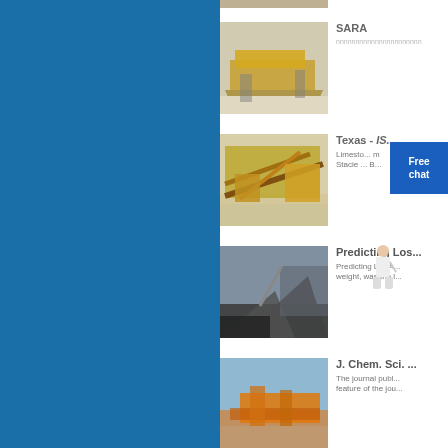[Figure (photo): Yellow mobile stone crusher machine in quarry - partially visible at top]
SARA
nnnnnnnnnnnnnnnnnnnn
[Figure (photo): Yellow mobile jaw crusher / aggregate processing equipment in open pit]
Texas - IS...
Limestone... Stacie... B...
[Figure (photo): Large yellow aggregate conveyor and crushing plant machinery outdoors]
Predicting Los...
Predicting Los A... weight, was the l...
[Figure (photo): Orange/red mobile crushing and screening plant in quarry]
J. Chem. Sci. ...
The journal publ... feature of the jou...
[Figure (photo): Heavy machinery/crusher equipment partially visible at bottom]